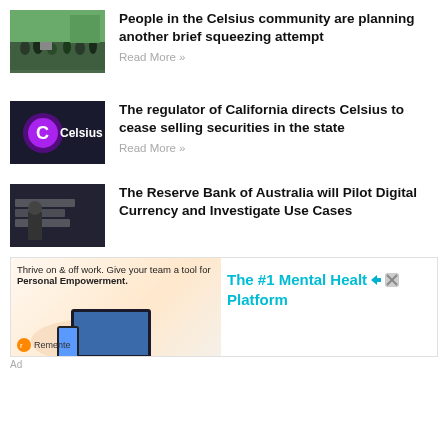[Figure (photo): Crowd of people at outdoor gathering, person in foreground speaking]
People in the Celsius community are planning another brief squeezing attempt
Read More »
[Figure (logo): Celsius logo - purple circle with C symbol and Celsius text on dark background]
The regulator of California directs Celsius to cease selling securities in the state
Read More »
[Figure (photo): Man in suit walking in front of building with large lettering]
The Reserve Bank of Australia will Pilot Digital Currency and Investigate Use Cases
[Figure (screenshot): Advertisement for Remente - Thrive on & off work. Give your team a tool for Personal Empowerment. The #1 Mental Health Platform]
Ad